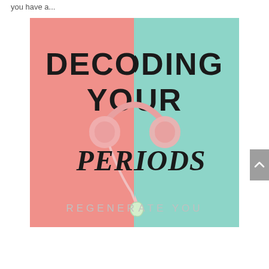you have a...
[Figure (illustration): Podcast cover art for 'Decoding Your Periods' by Regenerate You. The image is split vertically — left half is pink/salmon, right half is mint/teal. Large bold black sans-serif text reads 'DECODING YOUR' on the upper portion. Italic/script bold text reads 'PERIODS' in the lower-center. Pink headphones are draped across the center. Below in light gray spaced letters reads 'REGENERATE YOU'.]